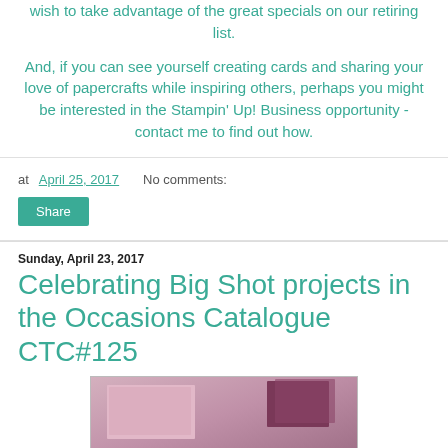wish to take advantage of the great specials on our retiring list.
And, if you can see yourself creating cards and sharing your love of papercrafts while inspiring others, perhaps you might be interested in the Stampin' Up! Business opportunity - contact me to find out how.
at April 25, 2017    No comments:
Share
Sunday, April 23, 2017
Celebrating Big Shot projects in the Occasions Catalogue CTC#125
[Figure (photo): Photo of handmade cards with pink and purple/maroon paper crafts, partially visible at bottom of page]